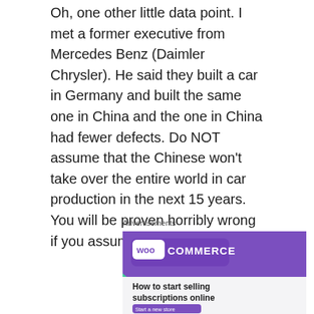Oh, one other little data point. I met a former executive from Mercedes Benz (Daimler Chrysler). He said they built a car in Germany and built the same one in China and the one in China had fewer defects. Do NOT assume that the Chinese won't take over the entire world in car production in the next 15 years. You will be proven horribly wrong if you assume that.
Advertisements
[Figure (illustration): WooCommerce advertisement banner with purple background showing WooCommerce logo, a teal triangle shape, a light blue curved shape, and text 'How to start selling subscriptions online' with a purple 'Start a new store' button.]